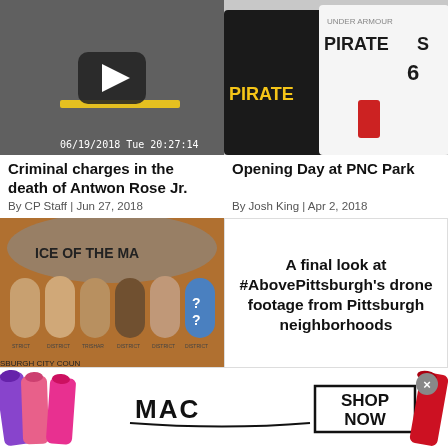[Figure (screenshot): Video thumbnail with play button, timestamp 06/19/2018 Tue 20:27:14, dark pavement scene]
Criminal charges in the death of Antwon Rose Jr.
By CP Staff | Jun 27, 2018
[Figure (photo): Pittsburgh Pirates fans wearing Pirates jerseys, number 6 visible]
Opening Day at PNC Park
By Josh King | Apr 2, 2018
[Figure (photo): Pittsburgh City Council figurines in front of a seal reading ICE OF THE MA, SBURGH CITY COUN]
A final look at #AbovePittsburgh's drone footage from Pittsburgh neighborhoods
[Figure (photo): MAC cosmetics advertisement with lipsticks and SHOP NOW button]